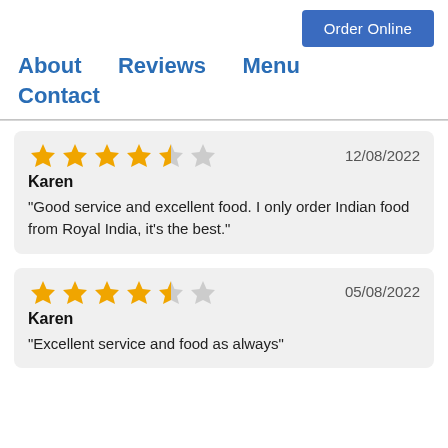Order Online
About   Reviews   Menu   Contact
Karen
12/08/2022
"Good service and excellent food. I only order Indian food from Royal India, it's the best."
Karen
05/08/2022
"Excellent service and food as always"